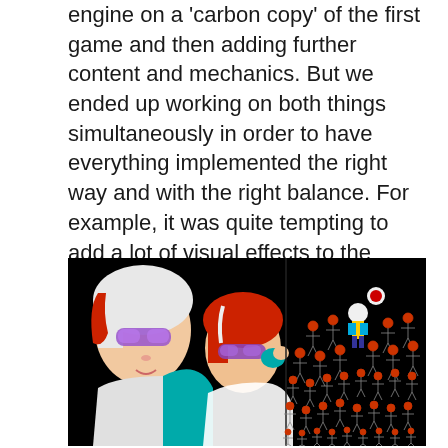engine on a 'carbon copy' of the first game and then adding further content and mechanics. But we ended up working on both things simultaneously in order to have everything implemented the right way and with the right balance. For example, it was quite tempting to add a lot of visual effects to the players' shots, but we knew that visibility at all times was an absolute necessity.
[Figure (screenshot): A dark game screenshot showing two anime-style female characters with white and red hair wearing purple glasses on the left side, and a gameplay scene with a character surrounded by many small skeletal/robot enemy sprites on a black background.]